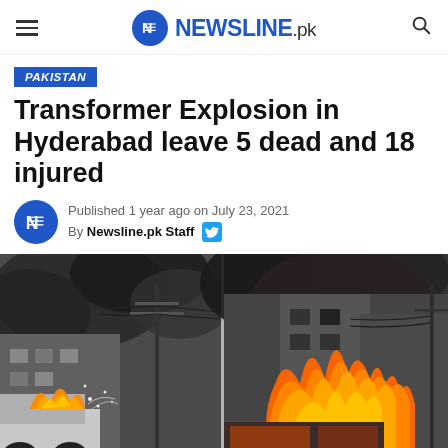NEWSLINE.pk
PAKISTAN
Transformer Explosion in Hyderabad leave 5 dead and 18 injured
Published 1 year ago on July 23, 2021
By Newsline.pk Staff
[Figure (photo): Two side-by-side photos of a transformer explosion and fire in Hyderabad: left shows smoke rising from electrical poles and a car fire with sparks; right shows a building engulfed in large orange flames with utility poles and smoke.]